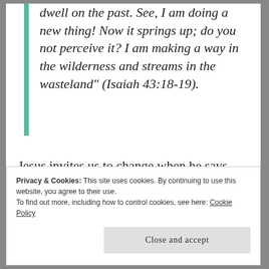dwell on the past. See, I am doing a new thing! Now it springs up; do you not perceive it? I am making a way in the wilderness and streams in the wasteland" (Isaiah 43:18-19).
Jesus invites us to change when he says 'repent and believe the good news'(Mark 1v15). The word repent refers to a
Privacy & Cookies: This site uses cookies. By continuing to use this website, you agree to their use.
To find out more, including how to control cookies, see here: Cookie Policy
Close and accept